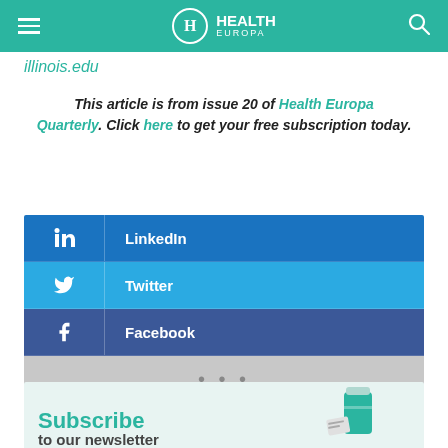Health Europa
illinois.edu
This article is from issue 20 of Health Europa Quarterly. Click here to get your free subscription today.
[Figure (infographic): Social media share buttons: LinkedIn (dark blue), Twitter (light blue), Facebook (dark blue/navy), and a more options row (grey with dots)]
[Figure (infographic): Subscribe to our newsletter banner with teal text and medicine bottle illustration]